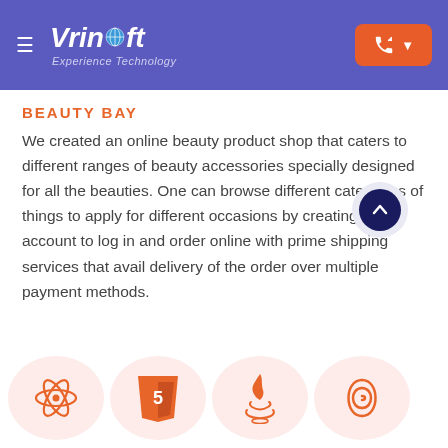[Figure (logo): VrinSoft logo with globe icon and tagline 'Experience Technology' on purple/blue header background, with hamburger menu icon on left and orange call button on right]
BEAUTY BAY
We created an online beauty product shop that caters to different ranges of beauty accessories specially designed for all the beauties. One can browse different categories of things to apply for different occasions by creating an account to log in and order online with prime shipping services that avail delivery of the order over multiple payment methods.
[Figure (infographic): Row of four technology icons in pink/salmon circular backgrounds: React atom icon, HTML5 shield icon, Java coffee cup icon, and CakePHP icon]
[Figure (other): Dark navy scroll-to-top arrow button in light purple circular background, positioned bottom right]